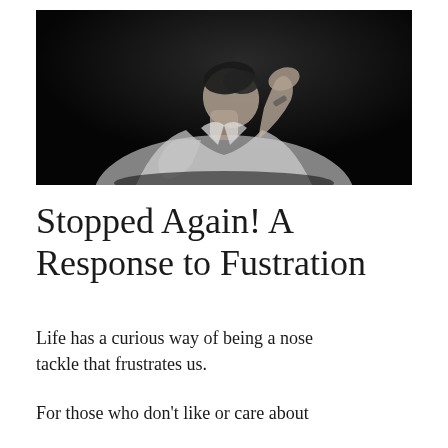[Figure (photo): Black and white photograph of a young man in a white dress shirt, head bowed and hand raised to his forehead in a gesture of frustration or despair, against a dark background.]
Stopped Again! A Response to Fustration
Life has a curious way of being a nose tackle that frustrates us.
For those who don't like or care about